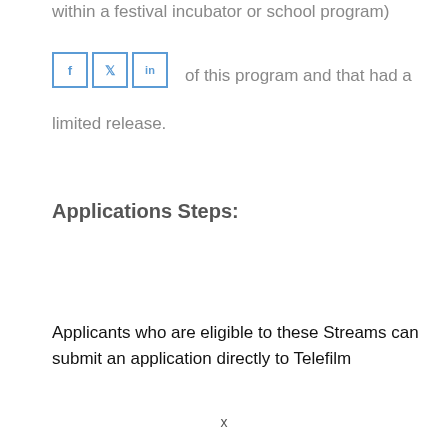within a festival incubator or school program)
[Figure (other): Social media share icons: Facebook (f), Twitter (bird), LinkedIn (in)]
outside of this program and that had a limited release.
Applications Steps:
Applicants who are eligible to these Streams can submit an application directly to Telefilm
x